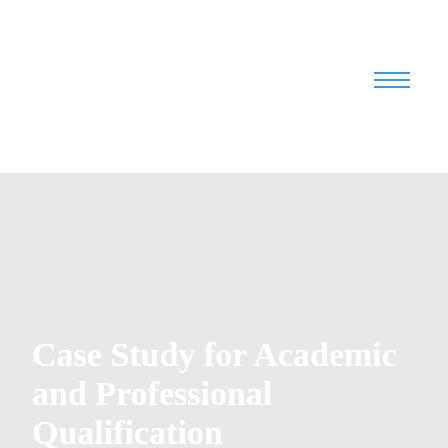[Figure (other): Hamburger menu icon with three horizontal blue lines in the top-right area of the white section]
Case Study for Academic and Professional Qualification